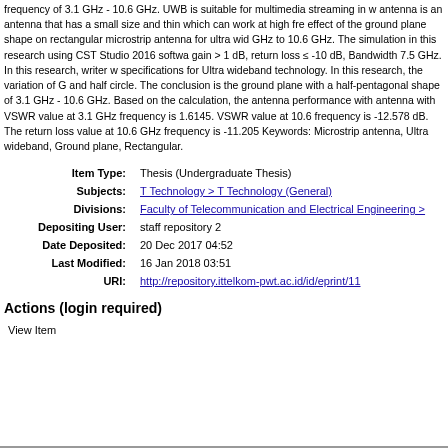frequency of 3.1 GHz - 10.6 GHz. UWB is suitable for multimedia streaming in w... antenna is an antenna that has a small size and thin which can work at high fre... effect of the ground plane shape on rectangular microstrip antenna for ultra wid... GHz to 10.6 GHz. The simulation in this research using CST Studio 2016 softwa... gain > 1 dB, return loss ≤ -10 dB, Bandwidth 7.5 GHz. In this research, writer w... specifications for Ultra wideband technology. In this research, the variation of G... and half circle. The conclusion is the ground plane with a half-pentagonal shape... of 3.1 GHz - 10.6 GHz. Based on the calculation, the antenna performance with... antenna with VSWR value at 3.1 GHz frequency is 1.6145. VSWR value at 10.6... frequency is -12.578 dB. The return loss value at 10.6 GHz frequency is -11.205... Keywords: Microstrip antenna, Ultra wideband, Ground plane, Rectangular.
| Item Type: | Thesis (Undergraduate Thesis) |
| Subjects: | T Technology > T Technology (General) |
| Divisions: | Faculty of Telecommunication and Electrical Engineering > |
| Depositing User: | staff repository 2 |
| Date Deposited: | 20 Dec 2017 04:52 |
| Last Modified: | 16 Jan 2018 03:51 |
| URI: | http://repository.ittelkom-pwt.ac.id/id/eprint/11 |
Actions (login required)
View Item